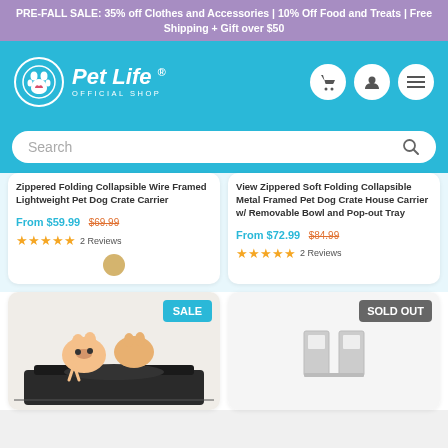PRE-FALL SALE: 35% off Clothes and Accessories | 10% Off Food and Treats | Free Shipping + Gift over $50
[Figure (logo): Pet Life Official Shop logo with paw print circle icon on cyan/teal header background, with cart, user, and menu icons]
Search
Zippered Folding Collapsible Wire Framed Lightweight Pet Dog Crate Carrier
From $59.99 $69.99
★★★★★ 2 Reviews
View Zippered Soft Folding Collapsible Metal Framed Pet Dog Crate House Carrier w/ Removable Bowl and Pop-out Tray
From $72.99 $84.99
★★★★★ 2 Reviews
[Figure (photo): Bottom left product card with SALE badge showing cats in a pet bed/carrier]
[Figure (photo): Bottom right product card with SOLD OUT badge showing a pet product]